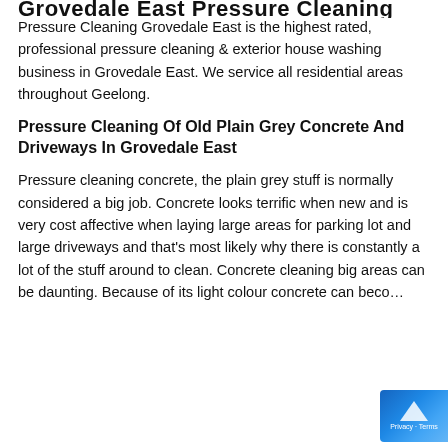Grovedale East Pressure Cleaning
Pressure Cleaning Grovedale East is the highest rated, professional pressure cleaning & exterior house washing business in Grovedale East. We service all residential areas throughout Geelong.
Pressure Cleaning Of Old Plain Grey Concrete And Driveways In Grovedale East
Pressure cleaning concrete, the plain grey stuff is normally considered a big job. Concrete looks terrific when new and is very cost affective when laying large areas for parking lot and large driveways and that’s most likely why there is constantly a lot of the stuff around to clean. Concrete cleaning big areas can be daunting. Because of its light colour concrete can beco...